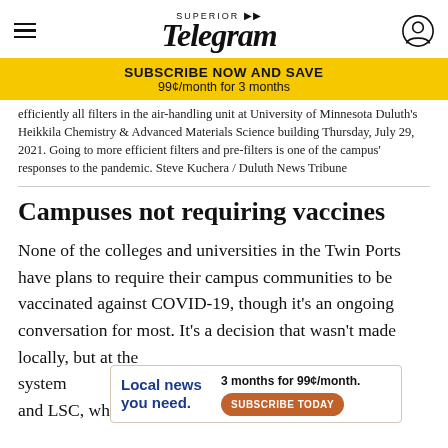Superior Telegram
SUBSCRIBE NOW AND SAVE
99¢/month for 3 months
efficiently all filters in the air-handling unit at University of Minnesota Duluth's Heikkila Chemistry & Advanced Materials Science building Thursday, July 29, 2021. Going to more efficient filters and pre-filters is one of the campus' responses to the pandemic. Steve Kuchera / Duluth News Tribune
Campuses not requiring vaccines
None of the colleges and universities in the Twin Ports have plans to require their campus communities to be vaccinated against COVID-19, though it's an ongoing conversation for most. It's a decision that wasn't made locally, but at the system level, for institutions like UMD, UWS, WITC or and LSC, which all operate within a statewide
Local news you need.
3 months for 99¢/month.
SUBSCRIBE TODAY